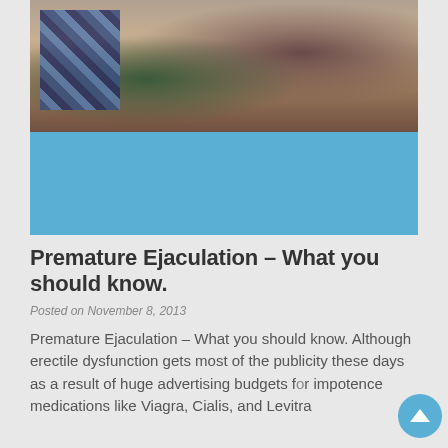[Figure (photo): A couple sitting on a bed, a man and woman in casual clothing, photographed from waist up. The lower half of the image is a solid blue/teal color.]
Premature Ejaculation – What you should know.
Posted on November 8, 2013
Premature Ejaculation – What you should know. Although erectile dysfunction gets most of the publicity these days as a result of huge advertising budgets for impotence medications like Viagra, Cialis, and Levitra